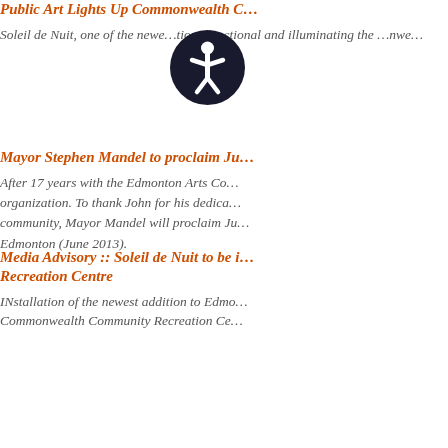Public Art Lights Up Commonwealth C…
Soleil de Nuit, one of the newe…tions functional and illuminating the …nwe…
Mayor Stephen Mandel to proclaim Ju…
After 17 years with the Edmonton Arts Co… organization. To thank John for his dedica… community, Mayor Mandel will proclaim Ju… Edmonton (June 2013).
Media Advisory :: Soleil de Nuit to be i… Recreation Centre
INstallation of the newest addition to Edmo… Commonwealth Community Recreation Ce…
More than 100 arts organizations recei… Council
The City of Edmonton and the Edmonton A… arts organizations that produce and perfor… The distribution of the Edmonton Arts Cou… significant investment that the City makes…
Edmonton Artist's Design for Capital B…
Decorative glass finials by Edmonton glas…